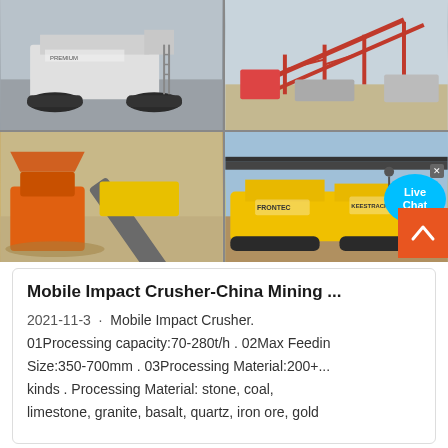[Figure (photo): Four-panel photo grid showing mobile impact crushers and mining equipment. Top-left: gray mobile crusher on tracked chassis. Top-right: large red conveyor/screening structure at a quarry. Bottom-left: orange jaw crusher with inclined conveyor belt. Bottom-right: yellow mobile impact crusher on tracked chassis with 'Live Chat' bubble overlay and close button.]
Mobile Impact Crusher-China Mining ...
2021-11-3 · Mobile Impact Crusher. 01Processing capacity:70-280t/h . 02Max Feeding Size:350-700mm . 03Processing Material:200+... kinds . Processing Material: stone, coal, limestone, granite, basalt, quartz, iron ore, gold